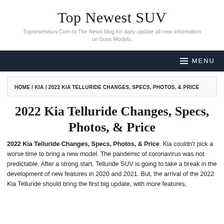Top Newest SUV
Topnewestsuv.Com Is The News blog for daily update all new information on Suvs Models.
MENU
HOME / KIA / 2022 KIA TELLURIDE CHANGES, SPECS, PHOTOS, & PRICE
2022 Kia Telluride Changes, Specs, Photos, & Price
2022 Kia Telluride Changes, Specs, Photos, & Price. Kia couldn't pick a worse time to bring a new model. The pandemic of coronavirus was not predictable. After a strong start, Telluride SUV is going to take a break in the development of new features in 2020 and 2021. But, the arrival of the 2022 Kia Telluride should bring the first big update, with more features,